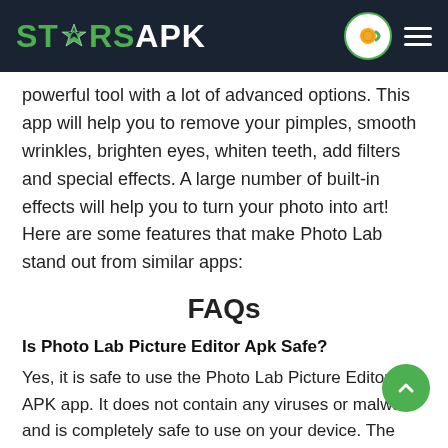STARSAPK
powerful tool with a lot of advanced options. This app will help you to remove your pimples, smooth wrinkles, brighten eyes, whiten teeth, add filters and special effects. A large number of built-in effects will help you to turn your photo into art! Here are some features that make Photo Lab stand out from similar apps:
FAQs
Is Photo Lab Picture Editor Apk Safe?
Yes, it is safe to use the Photo Lab Picture Editor APK app. It does not contain any viruses or malware and is completely safe to use on your device. The app has a 4+ rating on the Google Play Store with over 1 million downloads as well.
How Do I Use Effects in Photo Lab Picture Editor?